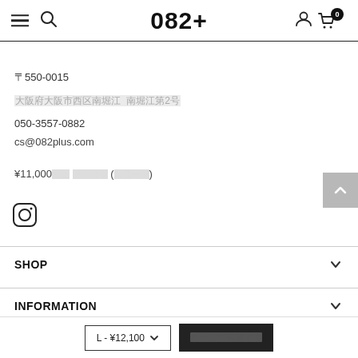082+
〒550-0015
大阪府大阪市西区南堀江 南堀江第2号
050-3557-0882
cs@082plus.com
¥11,000以上 送料無料 (全国一律)
[Figure (logo): Instagram icon]
SHOP
INFORMATION
L - ¥12,100  カートに追加する